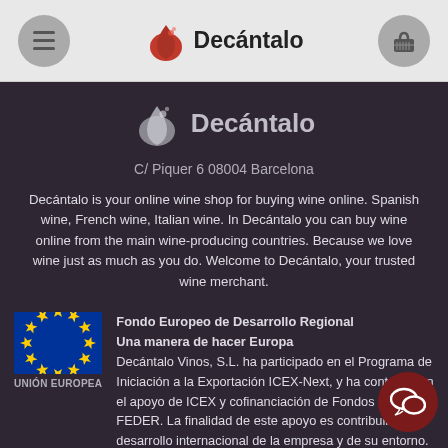Decántalo — navigation bar with hamburger menu, logo, and basket icon
[Figure (logo): Decántalo logo with red wine drop icon and bold text 'Decántalo' in dark content area]
C/ Piquer 6 08004 Barcelona
Decántalo is your online wine shop for buying wine online. Spanish wine, French wine, Italian wine. In Decántalo you can buy wine online from the main wine-producing countries. Because we love wine just as much as you do. Welcome to Decántalo, your trusted wine merchant.
[Figure (logo): European Union flag with blue background and yellow stars circle]
UNIÓN EUROPEA
Fondo Europeo de Desarrollo Regional
Una manera de hacer Europa
Decántalo Vinos, S.L. ha participado en el Programa de Iniciación a la Exportación ICEX-Next, y ha contado con el apoyo de ICEX y cofinanciación de Fondos europeos FEDER. La finalidad de este apoyo es contribuir al desarrollo internacional de la empresa y de su entorno.